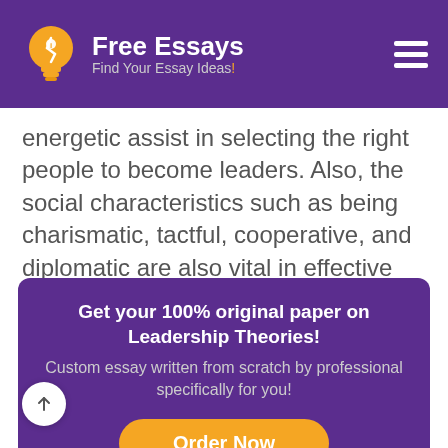[Figure (logo): Free Essays website logo with lightbulb icon, site name 'Free Essays' and tagline 'Find Your Essay Ideas!']
energetic assist in selecting the right people to become leaders. Also, the social characteristics such as being charismatic, tactful, cooperative, and diplomatic are also vital in effective leadership (Northouse G. 2009)
Get your 100% original paper on Leadership Theories! Custom essay written from scratch by professional specifically for you!